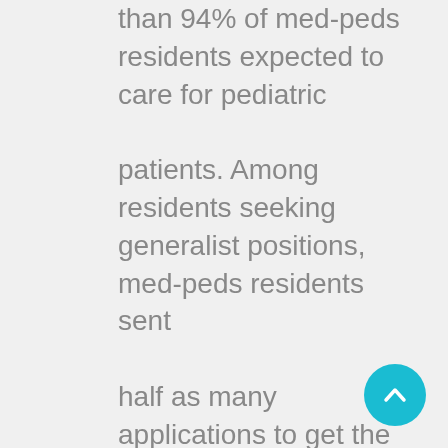than 94% of med-peds residents expected to care for pediatric patients. Among residents seeking generalist positions, med-peds residents sent half as many applications to get the same number of interviews and offers as pediatric residents, were more likely to be
[Figure (other): Teal/cyan circular scroll-to-top button with upward chevron arrow]